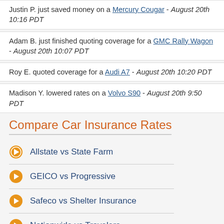Justin P. just saved money on a Mercury Cougar - August 20th 10:16 PDT
Adam B. just finished quoting coverage for a GMC Rally Wagon - August 20th 10:07 PDT
Roy E. quoted coverage for a Audi A7 - August 20th 10:20 PDT
Madison Y. lowered rates on a Volvo S90 - August 20th 9:50 PDT
Compare Car Insurance Rates
Allstate vs State Farm
GEICO vs Progressive
Safeco vs Shelter Insurance
Nationwide vs Travelers
Farmers vs American Family